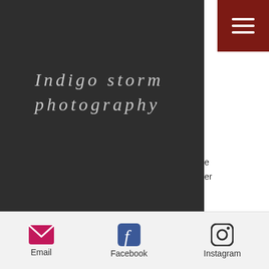Indigo Storm Photography
[Figure (screenshot): Website navigation header with dark panel showing Indigo Storm Photography logo in italic serif font, Facebook and Instagram icons, cart icon with Cart 0 text, burgundy hamburger menu button top right]
coating. Combined with state-of-the-art inkjet technology  this paper produces images with superb clarity, high sharpness and excellent colour gamut. With outstanding imaging performance the GALERIE PRESTIGE range is also guarunteed archival quality to ensure your images last a lifetime.
Email  Facebook  Instagram